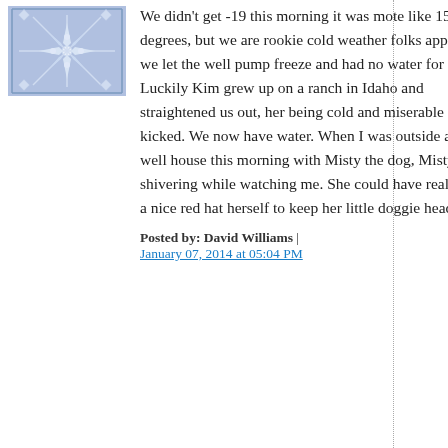[Figure (illustration): Square avatar image with a blue/purple geometric snowflake or star pattern on a light blue background]
We didn't get -19 this morning it was mote like 15 degrees, but we are rookie cold weather folks apparently, we let the well pump freeze and had no water for awhile. Luckily Kim grew up on a ranch in Idaho and straightened us out, her being cold and miserable memory kicked. We now have water. When I was outside at the well house this morning with Misty the dog, Misty was shivering while watching me. She could have really used a nice red hat herself to keep her little doggie head warm.
Posted by: David Williams | January 07, 2014 at 05:04 PM